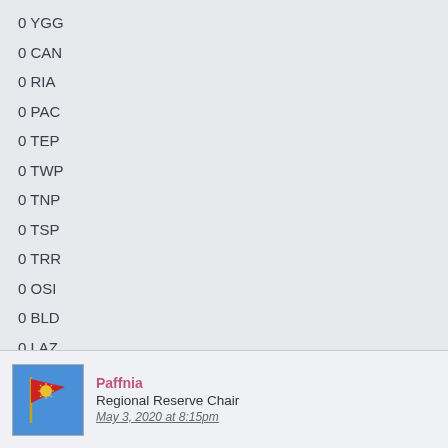0 YGG
0 CAN
0 RIA
0 PAC
0 TEP
0 TWP
0 TNP
0 TSP
0 TRR
0 OSI
0 BLD
0 LAZ
Paffnia Regional Reserve Chair May 3, 2020 at 8:15pm